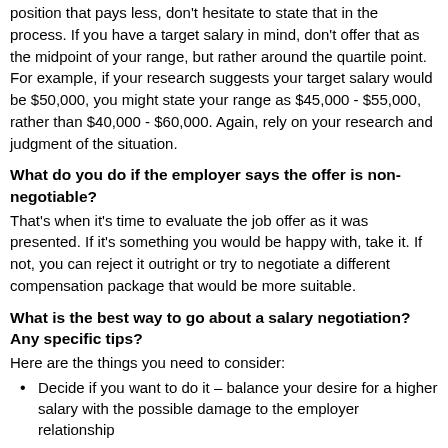position that pays less, don't hesitate to state that in the process. If you have a target salary in mind, don't offer that as the midpoint of your range, but rather around the quartile point. For example, if your research suggests your target salary would be $50,000, you might state your range as $45,000 - $55,000, rather than $40,000 - $60,000. Again, rely on your research and judgment of the situation.
What do you do if the employer says the offer is non-negotiable?
That's when it's time to evaluate the job offer as it was presented. If it's something you would be happy with, take it. If not, you can reject it outright or try to negotiate a different compensation package that would be more suitable.
What is the best way to go about a salary negotiation? Any specific tips?
Here are the things you need to consider:
Decide if you want to do it – balance your desire for a higher salary with the possible damage to the employer relationship
Research – know your value by doing your research and be sure to compare job descriptions, not just job titles
Suggest your desired salary and explain your reasons, focusing on the value you bring. Wait for the employer's response or counteroffer